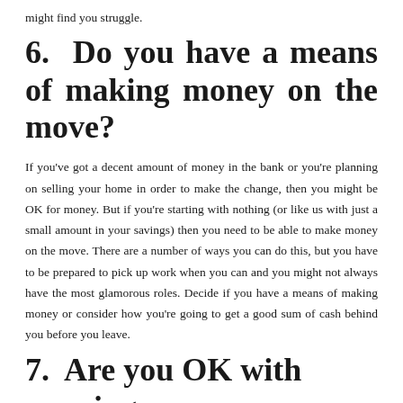might find you struggle.
6.  Do you have a means of making money on the move?
If you've got a decent amount of money in the bank or you're planning on selling your home in order to make the change, then you might be OK for money. But if you're starting with nothing (or like us with just a small amount in your savings) then you need to be able to make money on the move. There are a number of ways you can do this, but you have to be prepared to pick up work when you can and you might not always have the most glamorous roles. Decide if you have a means of making money or consider how you're going to get a good sum of cash behind you before you leave.
7.  Are you OK with wearing